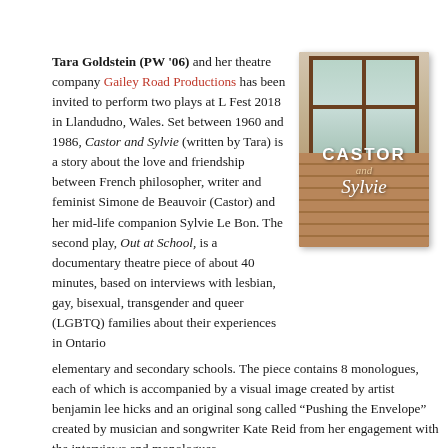Tara Goldstein (PW '06) and her theatre company Gailey Road Productions has been invited to perform two plays at L Fest 2018 in Llandudno, Wales. Set between 1960 and 1986, Castor and Sylvie (written by Tara) is a story about the love and friendship between French philosopher, writer and feminist Simone de Beauvoir (Castor) and her mid-life companion Sylvie Le Bon. The second play, Out at School, is a documentary theatre piece of about 40 minutes, based on interviews with lesbian, gay, bisexual, transgender and queer (LGBTQ) families about their experiences in Ontario elementary and secondary schools. The piece contains 8 monologues, each of which is accompanied by a visual image created by artist benjamin lee hicks and an original song called “Pushing the Envelope” created by musician and songwriter Kate Reid from her engagement with the interviews and monologues.
[Figure (illustration): Book cover of 'Castor and Sylvie' showing a window with wooden frame against a warm-toned background with brick wall at bottom. Title text reads CASTOR and Sylvie.]